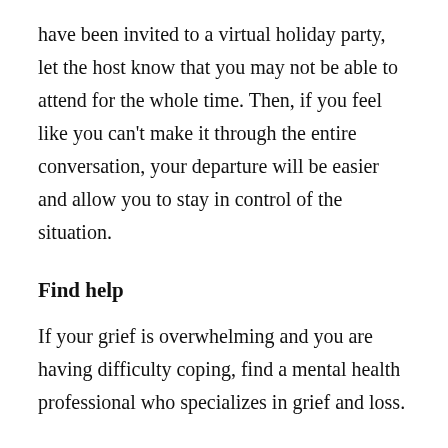have been invited to a virtual holiday party, let the host know that you may not be able to attend for the whole time. Then, if you feel like you can't make it through the entire conversation, your departure will be easier and allow you to stay in control of the situation.
Find help
If your grief is overwhelming and you are having difficulty coping, find a mental health professional who specializes in grief and loss.